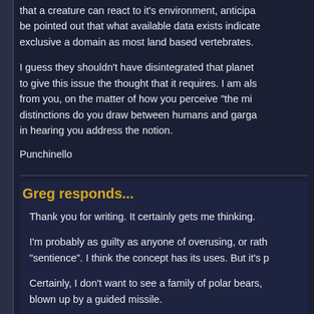that a creature can react to it's environment, anticipa... be pointed out that what available data exists indicate... exclusive a domain as most land based vertebrates.
I guess they shouldn't have disintegrated that planet... to give this issue the thought that it requires. I am als... from you, on the matter of how you perceive "the mi... distinctions do you draw between humans and garga... in hearing you address the notion.
Punchinello
Greg responds...
Thank you for writing. It certainly gets me thinking.
I'm probably as guilty as anyone of overusing, or rath... "sentience". I think the concept has its uses. But it's p...
Certainly, I don't want to see a family of polar bears,... blown up by a guided missile.
I don't much like the idea of destroying planets. In sc...